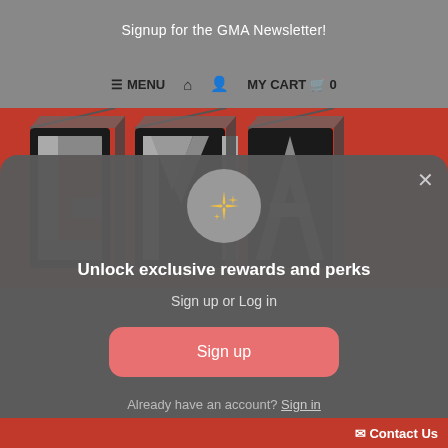Signup for the GMA Newsletter!
≡ MENU  🏠  👤  MY CART  🛒  0
[Figure (logo): GMA logo in red, black and silver 3D block lettering on a red background]
Unlock exclusive rewards and perks
Sign up or Log in
Sign up
Already have an account? Sign in